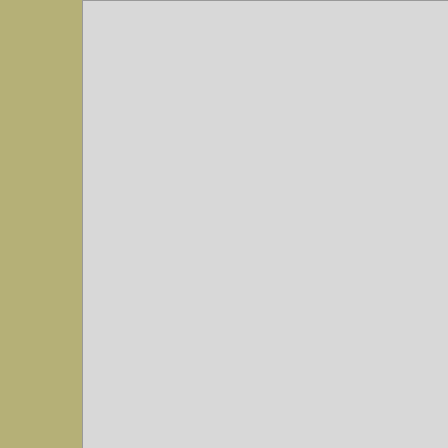I love Trakus, but they sometimes ge

Thorograph has him as 3w and 3w, b

I had him between 2-3 wide 1st turn a

IMO the main thing with ground loss was WAY back where he normally se wider and closer to it. They were beir

On the 2nd turn when he was doing h swinging way out.

IMO was a great ride and as good a g behind with that pace. IMO you sure insanity.

"Unlearning is the highest form of lea
[Figure (screenshot): Green online status indicator dot (circle)]
[Figure (screenshot): Post Reply button with green gradient background and pencil/paper icon]
[Figure (screenshot): TimeformUS advertisement banner with dark background, logo on left, 'Great deals on our PPs' tagline in yellow, and 'Get Started' button on right, with X close button]